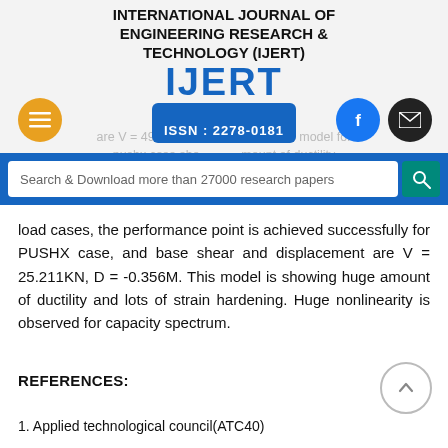INTERNATIONAL JOURNAL OF ENGINEERING RESEARCH & TECHNOLOGY (IJERT)
are V = 49.52KN, D = -0.431M. This model for pushx case shows minimum amount of ductility and lots of strain hardening and huge nonlinearity is observed for capacity spectrum.
Search & Download more than 27000 research papers
load cases, the performance point is achieved successfully for PUSHX case, and base shear and displacement are V = 25.211KN, D = -0.356M. This model is showing huge amount of ductility and lots of strain hardening. Huge nonlinearity is observed for capacity spectrum.
REFERENCES:
1.  Applied technological council(ATC40)